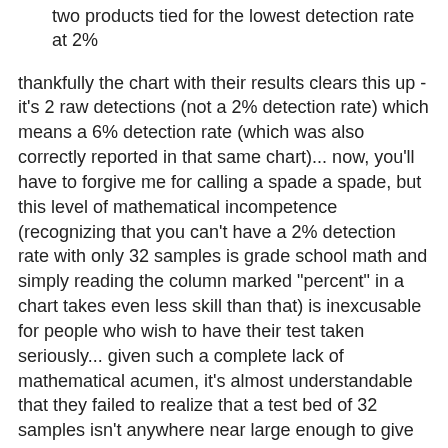two products tied for the lowest detection rate at 2%
thankfully the chart with their results clears this up - it's 2 raw detections (not a 2% detection rate) which means a 6% detection rate (which was also correctly reported in that same chart)... now, you'll have to forgive me for calling a spade a spade, but this level of mathematical incompetence (recognizing that you can't have a 2% detection rate with only 32 samples is grade school math and simply reading the column marked "percent" in a chart takes even less skill than that) is inexcusable for people who wish to have their test taken seriously... given such a complete lack of mathematical acumen, it's almost understandable that they failed to realize that a test bed of 32 samples isn't anywhere near large enough to give statistically significant results...
bias also figured heavily in the test... not only because they only used samples that got through the layers of protection already present on the systems they culled the samples from (thereby missing a potentially huge chunk of what's really